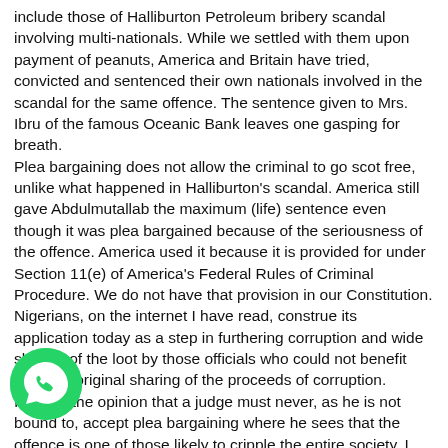include those of Halliburton Petroleum bribery scandal involving multi-nationals. While we settled with them upon payment of peanuts, America and Britain have tried, convicted and sentenced their own nationals involved in the scandal for the same offence. The sentence given to Mrs. Ibru of the famous Oceanic Bank leaves one gasping for breath.
Plea bargaining does not allow the criminal to go scot free, unlike what happened in Halliburton's scandal. America still gave Abdulmutallab the maximum (life) sentence even though it was plea bargained because of the seriousness of the offence. America used it because it is provided for under Section 11(e) of America's Federal Rules of Criminal Procedure. We do not have that provision in our Constitution.
Nigerians, on the internet I have read, construe its application today as a step in furthering corruption and wide sharing of the loot by those officials who could not benefit from the original sharing of the proceeds of corruption.
I was of the opinion that a judge must never, as he is not bound to, accept plea bargaining where he sees that the offence is one of those likely to cripple the entire society. I am fortified in this view by the learned authors of "Blacks Law Dictionary" (6th edition) at page 1152 where they submitted that:
[Figure (logo): WhatsApp circular green button icon with phone handset symbol]